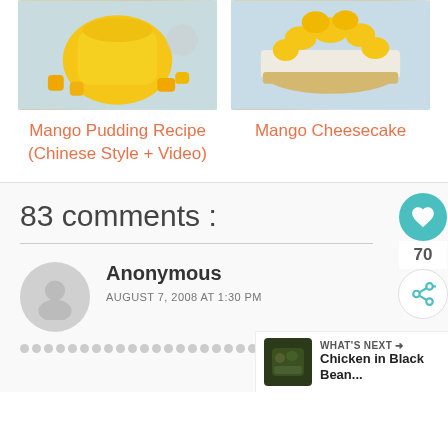[Figure (photo): Mango Pudding dish photo (Chinese style pudding with mango pieces)]
[Figure (photo): Mango Cheesecake photo (cheesecake topped with mango pieces on a plate)]
Mango Pudding Recipe (Chinese Style + Video)
Mango Cheesecake
83 comments :
Anonymous
AUGUST 7, 2008 AT 1:30 PM
[Figure (photo): Chicken in Black Bean sauce thumbnail for What's Next section]
WHAT'S NEXT → Chicken in Black Bean...